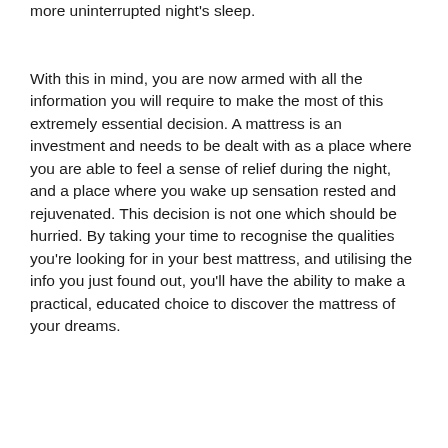more uninterrupted night's sleep.
With this in mind, you are now armed with all the information you will require to make the most of this extremely essential decision. A mattress is an investment and needs to be dealt with as a place where you are able to feel a sense of relief during the night, and a place where you wake up sensation rested and rejuvenated. This decision is not one which should be hurried. By taking your time to recognise the qualities you're looking for in your best mattress, and utilising the info you just found out, you'll have the ability to make a practical, educated choice to discover the mattress of your dreams.